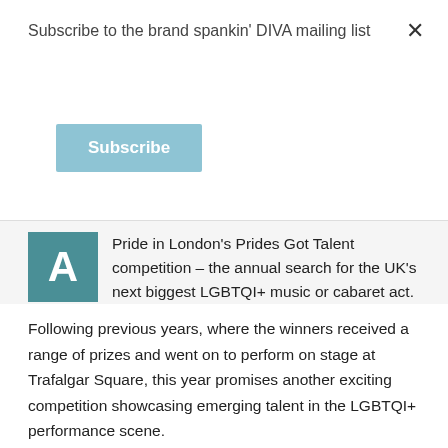Subscribe to the brand spankin' DIVA mailing list
Subscribe
Pride in London's Prides Got Talent competition – the annual search for the UK's next biggest LGBTQI+ music or cabaret act.
Following previous years, where the winners received a range of prizes and went on to perform on stage at Trafalgar Square, this year promises another exciting competition showcasing emerging talent in the LGBTQI+ performance scene.
As always, the competition will be split into two genres of Cabaret and Music, with auditions and finals taking place at venues across London, including the Two Brewers, She S Ku Bar, Old Ship, The Glory, Phoenix Club, RVT and more.